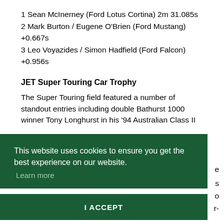1 Sean McInerney (Ford Lotus Cortina) 2m 31.085s
2 Mark Burton / Eugene O'Brien (Ford Mustang) +0.667s
3 Leo Voyazides / Simon Hadfield (Ford Falcon) +0.956s
JET Super Touring Car Trophy
The Super Touring field featured a number of standout entries including double Bathurst 1000 winner Tony Longhurst in his '94 Australian Class II
This website uses cookies to ensure you get the best experience on our website.
Learn more
I ACCEPT
James Dodd – in the ex-Peter Kox '99 Honda Accord